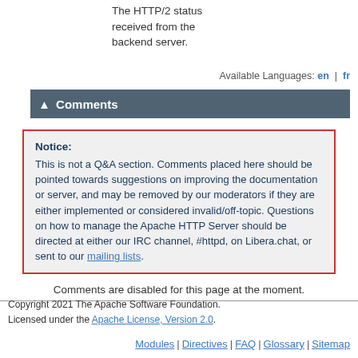The HTTP/2 status received from the backend server.
Available Languages: en | fr
Comments
Notice:
This is not a Q&A section. Comments placed here should be pointed towards suggestions on improving the documentation or server, and may be removed by our moderators if they are either implemented or considered invalid/off-topic. Questions on how to manage the Apache HTTP Server should be directed at either our IRC channel, #httpd, on Libera.chat, or sent to our mailing lists.
Comments are disabled for this page at the moment.
Copyright 2021 The Apache Software Foundation.
Licensed under the Apache License, Version 2.0.
Modules | Directives | FAQ | Glossary | Sitemap